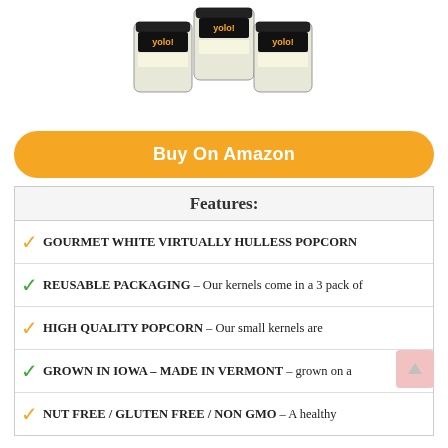[Figure (photo): Three jars of YOLO! popcorn kernels brand product]
Buy On Amazon
Features:
GOURMET WHITE VIRTUALLY HULLESS POPCORN
REUSABLE PACKAGING – Our kernels come in a 3 pack of
HIGH QUALITY POPCORN – Our small kernels are
GROWN IN IOWA – MADE IN VERMONT – grown on a
NUT FREE / GLUTEN FREE / NON GMO – A healthy
2. MUSHROOM POPCORN KERNELS BY PRINCETON POPCORN FARM GROWN
[Figure (photo): Package of mushroom popcorn kernels by Princeton Popcorn Farm]